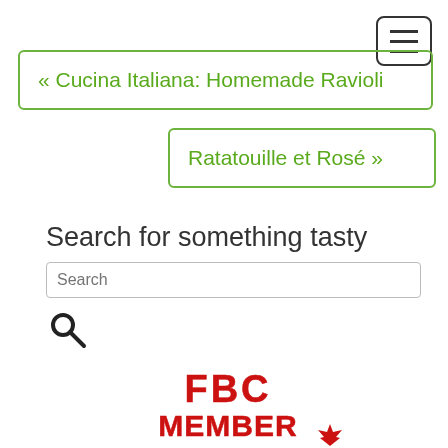[Figure (other): Hamburger menu button icon with three horizontal lines inside a rounded rectangle border]
« Cucina Italiana: Homemade Ravioli
Ratatouille et Rosé »
Search for something tasty
[Figure (other): Search input field with placeholder text 'Search' and a search magnifying glass icon button below]
[Figure (logo): FBC MEMBER logo in red block letters with a red maple leaf below]